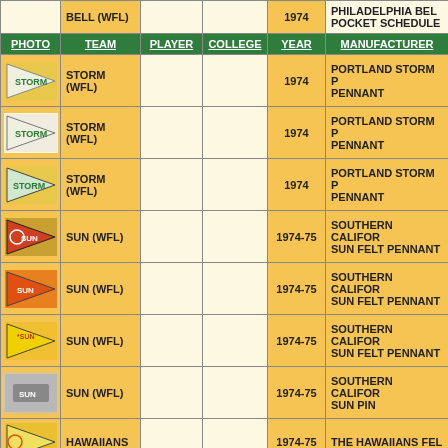| PHOTO | TEAM | PLAYER | COLLEGE | YEAR | MANUFACTURER |
| --- | --- | --- | --- | --- | --- |
| [img] | BELL (WFL) |  |  | 1974 | PHILADELPHIA BELL POCKET SCHEDULE |
| [img] | STORM (WFL) |  |  | 1974 | PORTLAND STORM PENNANT |
| [img] | STORM (WFL) |  |  | 1974 | PORTLAND STORM PENNANT |
| [img] | STORM (WFL) |  |  | 1974 | PORTLAND STORM PENNANT |
| [img] | SUN (WFL) |  |  | 1974-75 | SOUTHERN CALIFORNIA SUN FELT PENNANT |
| [img] | SUN (WFL) |  |  | 1974-75 | SOUTHERN CALIFORNIA SUN FELT PENNANT |
| [img] | SUN (WFL) |  |  | 1974-75 | SOUTHERN CALIFORNIA SUN FELT PENNANT |
| [img] | SUN (WFL) |  |  | 1974-75 | SOUTHERN CALIFORNIA SUN PIN |
| [img] | HAWAIIANS |  |  | 1974-75 | THE HAWAIIANS FELT... |